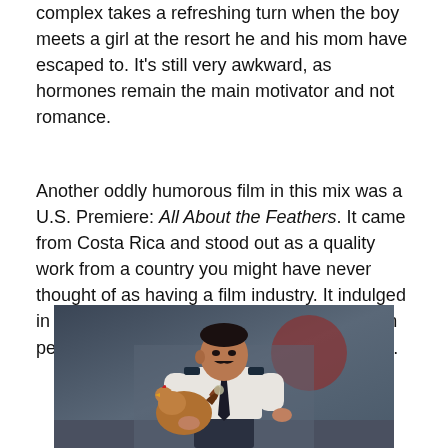complex takes a refreshing turn when the boy meets a girl at the resort he and his mom have escaped to. It's still very awkward, as hormones remain the main motivator and not romance.
Another oddly humorous film in this mix was a U.S. Premiere: All About the Feathers. It came from Costa Rica and stood out as a quality work from a country you might have never thought of as having a film industry. It indulged in a deadpan sense of humor and focused on people often relegated to the periphery of life.
[Figure (photo): A man in a white short-sleeved uniform shirt and dark tie holds a rooster, standing in a dimly lit outdoor setting.]